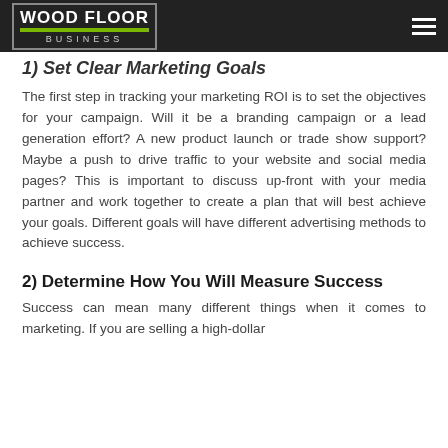WOOD FLOOR BUSINESS
1) Set Clear Marketing Goals
The first step in tracking your marketing ROI is to set the objectives for your campaign. Will it be a branding campaign or a lead generation effort? A new product launch or trade show support? Maybe a push to drive traffic to your website and social media pages? This is important to discuss up-front with your media partner and work together to create a plan that will best achieve your goals. Different goals will have different advertising methods to achieve success.
2) Determine How You Will Measure Success
Success can mean many different things when it comes to marketing. If you are selling a high-dollar comes to marketing. If you are selling a high-dollar